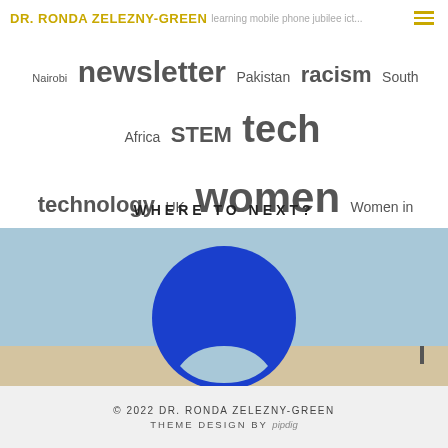DR. RONDA ZELEZNY-GREEN | learning mobile phone jubilee ict...
Nairobi newsletter Pakistan racism South Africa STEM tech technology UK women Women in Mobile women in tech
WHERE TO NEXT?
[Figure (photo): Fulbright sign with blue circle logo against a light blue sky and beige wall]
© 2022 DR. RONDA ZELEZNY-GREEN | THEME DESIGN BY pipdig